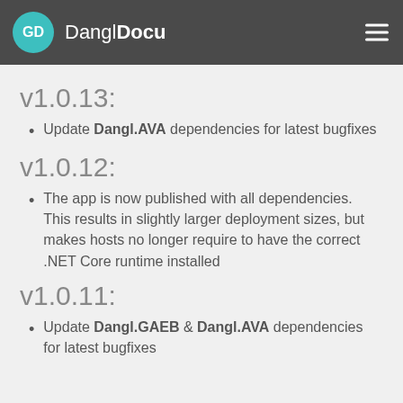DanglDocu
v1.0.13:
Update Dangl.AVA dependencies for latest bugfixes
v1.0.12:
The app is now published with all dependencies. This results in slightly larger deployment sizes, but makes hosts no longer require to have the correct .NET Core runtime installed
v1.0.11:
Update Dangl.GAEB & Dangl.AVA dependencies for latest bugfixes